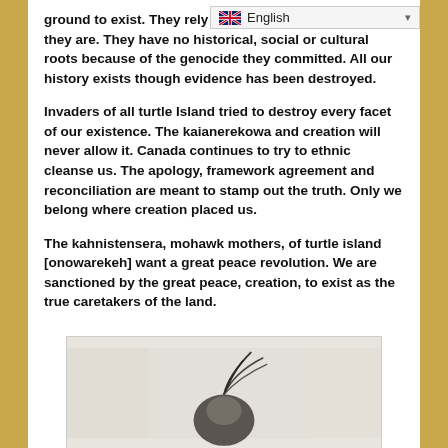ground to exist. They rely on go... who and what they are. They have no historical, social or cultural roots because of the genocide they committed. All our history exists though evidence has been destroyed.
Invaders of all turtle Island tried to destroy every facet of our existence. The kaianerekowa and creation will never allow it. Canada continues to try to ethnic cleanse us. The apology, framework agreement and reconciliation are meant to stamp out the truth. Only we belong where creation placed us.
The kahnistensera, mohawk mothers, of turtle island [onowarekeh] want a great peace revolution. We are sanctioned by the great peace, creation, to exist as the true caretakers of the land.
[Figure (photo): Black and white photograph showing the top of a person's head with feathers or hair blowing, against a light background]